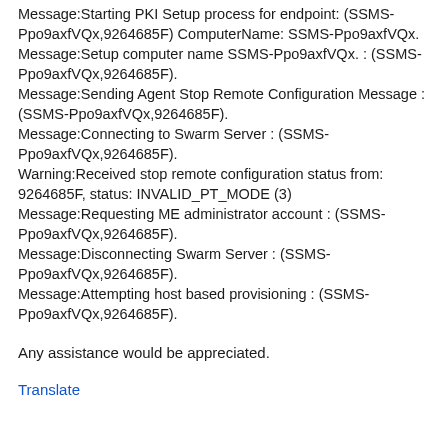Message:Starting PKI Setup process for endpoint: (SSMS-Ppo9axfVQx,9264685F) ComputerName: SSMS-Ppo9axfVQx.
Message:Setup computer name SSMS-Ppo9axfVQx. : (SSMS-Ppo9axfVQx,9264685F).
Message:Sending Agent Stop Remote Configuration Message : (SSMS-Ppo9axfVQx,9264685F).
Message:Connecting to Swarm Server : (SSMS-Ppo9axfVQx,9264685F).
Warning:Received stop remote configuration status from: 9264685F, status: INVALID_PT_MODE (3)
Message:Requesting ME administrator account : (SSMS-Ppo9axfVQx,9264685F).
Message:Disconnecting Swarm Server : (SSMS-Ppo9axfVQx,9264685F).
Message:Attempting host based provisioning : (SSMS-Ppo9axfVQx,9264685F).
Any assistance would be appreciated.
Translate